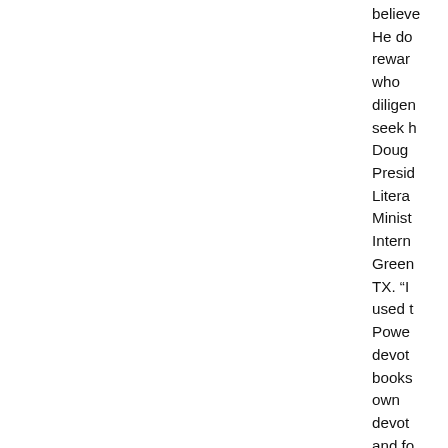believe He do rewar who diligen seek h Doug Presid Litera Minist Intern Green TX. "I used Power devot books own devot and fo them insigh Biblica AUDI